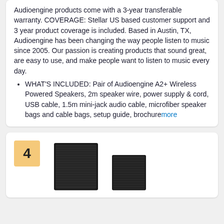Audioengine products come with a 3-year transferable warranty. COVERAGE: Stellar US based customer support and 3 year product coverage is included. Based in Austin, TX, Audioengine has been changing the way people listen to music since 2005. Our passion is creating products that sound great, are easy to use, and make people want to listen to music every day.
WHAT'S INCLUDED: Pair of Audioengine A2+ Wireless Powered Speakers, 2m speaker wire, power supply & cord, USB cable, 1.5m mini-jack audio cable, microfiber speaker bags and cable bags, setup guide, brochuremore
[Figure (photo): Product card showing item ranked #4, with a dark/black bookshelf speaker shown against white background, rank badge showing '4' in a gold/yellow square badge at top left]